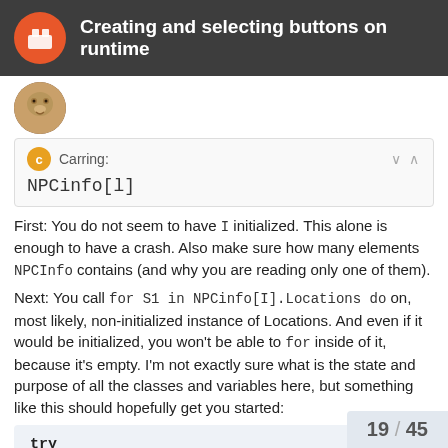Creating and selecting buttons on runtime
[Figure (photo): User avatar thumbnail - animal/cheetah image]
Carring: NPCinfo[l]
First: You do not seem to have I initialized. This alone is enough to have a crash. Also make sure how many elements NPCInfo contains (and why you are reading only one of them).
Next: You call for S1 in NPCinfo[I].Locations do on, most likely, non-initialized instance of Locations. And even if it would be initialized, you won't be able to for inside of it, because it's empty. I'm not exactly sure what is the state and purpose of all the classes and variables here, but something like this should hopefully get you started:
try
    I := 0;
19 / 45